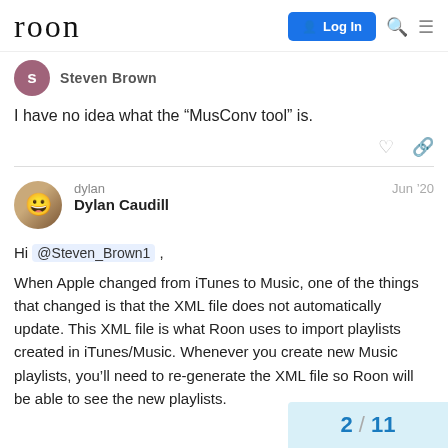roon | Log In
Steven Brown
I have no idea what the “MusConv tool” is.
dylan  Jun '20
Dylan Caudill
Hi @Steven_Brown1 ,

When Apple changed from iTunes to Music, one of the things that changed is that the XML file does not automatically update. This XML file is what Roon uses to import playlists created in iTunes/Music. Whenever you create new Music playlists, you’ll need to re-generate the XML file so Roon will be able to see the new playlists.
2 / 11